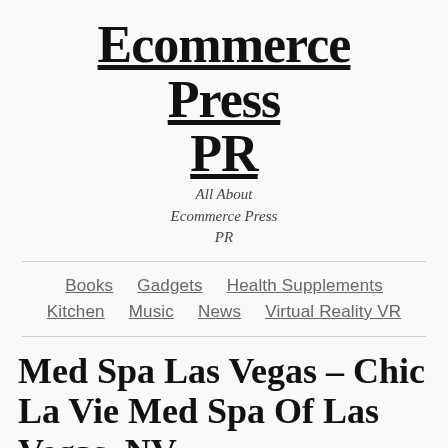Ecommerce Press PR
All About Ecommerce Press PR
Books | Gadgets | Health Supplements | Kitchen | Music | News | Virtual Reality VR
Med Spa Las Vegas – Chic La Vie Med Spa Of Las Vegas, NV